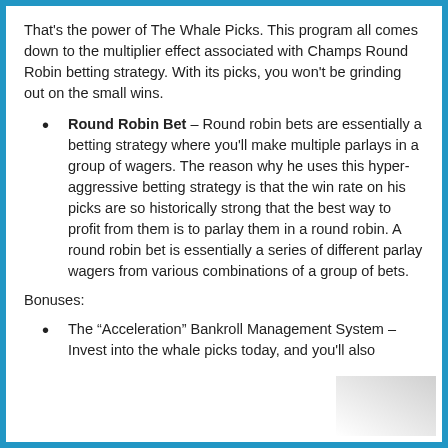That's the power of The Whale Picks. This program all comes down to the multiplier effect associated with Champs Round Robin betting strategy. With its picks, you won't be grinding out on the small wins.
Round Robin Bet – Round robin bets are essentially a betting strategy where you'll make multiple parlays in a group of wagers. The reason why he uses this hyper-aggressive betting strategy is that the win rate on his picks are so historically strong that the best way to profit from them is to parlay them in a round robin. A round robin bet is essentially a series of different parlay wagers from various combinations of a group of bets.
Bonuses:
The “Acceleration” Bankroll Management System – Invest into the whale picks today, and you'll also